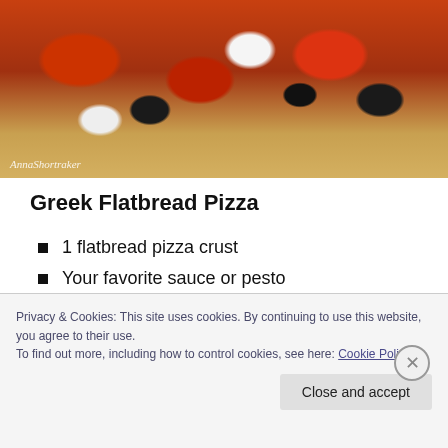[Figure (photo): A flatbread pizza topped with tomato sauce, kalamata olives, and shredded cheese on a flat surface. Watermark reads 'AnnaShortraker' in the lower left corner.]
Greek Flatbread Pizza
1 flatbread pizza crust
Your favorite sauce or pesto
3/4 cup shredded Asiago cheese
1/2 cup shredded Parmesan cheese
10 kalamata olives, halved
Privacy & Cookies: This site uses cookies. By continuing to use this website, you agree to their use.
To find out more, including how to control cookies, see here: Cookie Policy